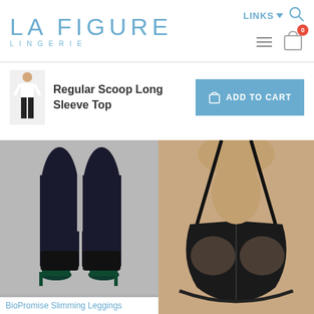LA FIGURE LINGERIE
Regular Scoop Long Sleeve Top
[Figure (photo): Small thumbnail of a woman wearing a long-sleeve top and black leggings]
[Figure (photo): Product photo of legs wearing black slimming leggings with high heels on grey background]
BioPromise Slimming Leggings
[Figure (photo): Close-up product photo of a woman wearing a black wireless triangle bra]